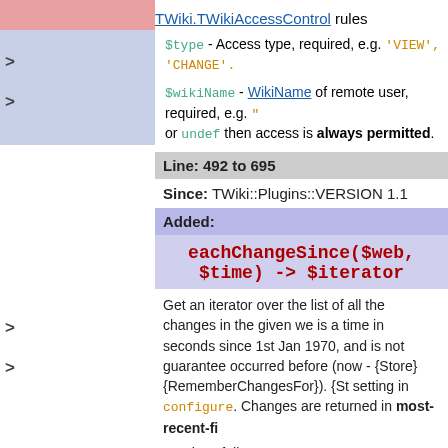TWiki.TWikiAccessControl rules
$type - Access type, required, e.g. 'VIEW', 'CHANGE'.
$wikiName - WikiName of remote user, required, e.g. "..." or undef then access is always permitted.
Line: 492 to 695
Since: TWiki::Plugins::VERSION 1.1
Added:
eachChangeSince($web, $time) -> $iterator
Get an iterator over the list of all the changes in the given we... is a time in seconds since 1st Jan 1970, and is not guarantee... occurred before (now - {Store}{RememberChangesFor}). {St... setting in configure. Changes are returned in most-recent-fi...
Use it as follows:
my $iterator = TWiki::Func::eachChangeSince(
    $web, time() - 7 * 24 * 60 * 60); # the last 7